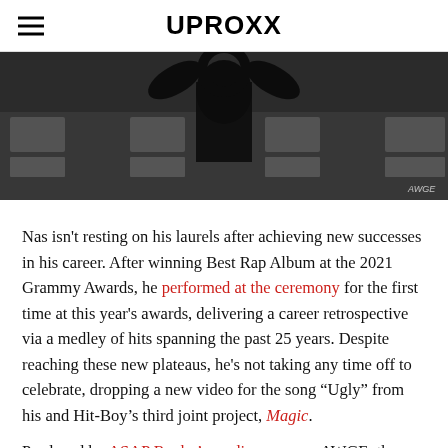UPROXX
[Figure (photo): Black and white hero image showing a dark sculptural figure against a building facade with ornate window details, with 'AWGE' watermark in bottom right]
Nas isn't resting on his laurels after achieving new successes in his career. After winning Best Rap Album at the 2021 Grammy Awards, he performed at the ceremony for the first time at this year's awards, delivering a career retrospective via a medley of hits spanning the past 25 years. Despite reaching these new plateaus, he's not taking any time off to celebrate, dropping a new video for the song “Ugly” from his and Hit-Boy’s third joint project, Magic.
Produced by ASAP Rocky’s media company AWGE, the abstract, black and white video is pieced together